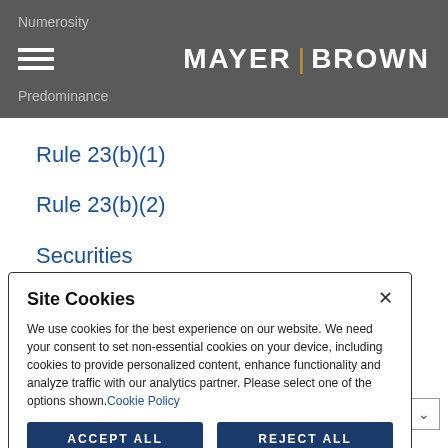Numerosity | MAYER BROWN | Predominance
Rule 23(b)(1)
Rule 23(b)(2)
Securities
Superiority
Typicality
Site Cookies
We use cookies for the best experience on our website. We need your consent to set non-essential cookies on your device, including cookies to provide personalized content, enhance functionality and analyze traffic with our analytics partner. Please select one of the options shown. Cookie Policy
Accept All   Reject All